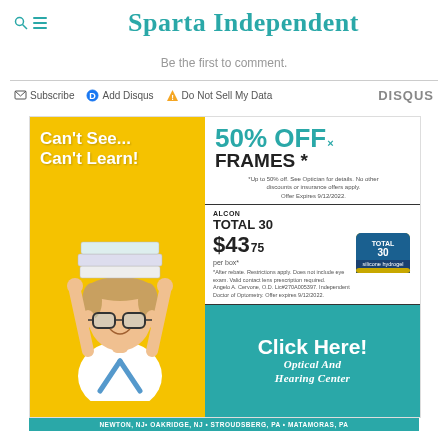Sparta Independent
Be the first to comment.
Subscribe  Add Disqus  Do Not Sell My Data  DISQUS
[Figure (illustration): Advertisement for Optical and Hearing Center featuring a child with glasses holding books on his head, 50% OFF FRAMES promotion, ALCON TOTAL 30 contacts at $43.75 per box, and 'Click Here!' call to action.]